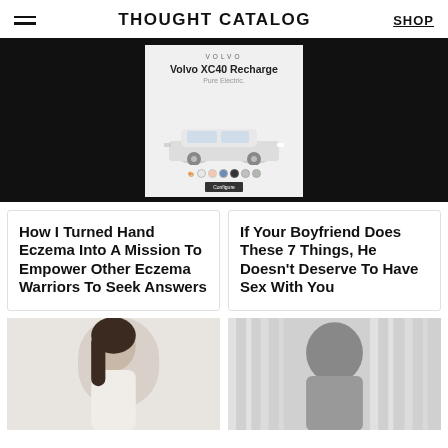THOUGHT CATALOG | SHOP
[Figure (photo): Volvo XC40 Recharge advertisement on black background. Ad shows car model name, Pure Electric tagline, color swatches, and SUV image.]
How I Turned Hand Eczema Into A Mission To Empower Other Eczema Warriors To Seek Answers
If Your Boyfriend Does These 7 Things, He Doesn't Deserve To Have Sex With You
[Figure (photo): Woman with dark hair in white clothing, soft light background — left article thumbnail.]
[Figure (photo): Blurred black and white photo of person in grey clothing with light stripes in background — right article thumbnail.]